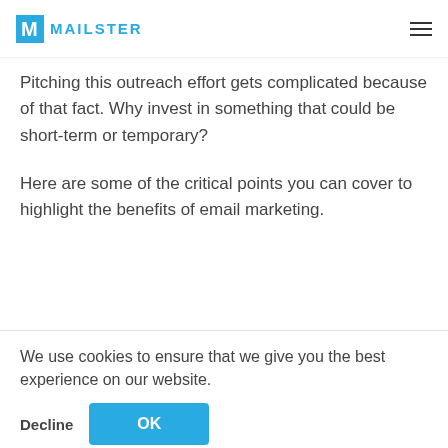MAILSTER
email. Even when someone invites you to be there,
Pitching this outreach effort gets complicated because of that fact. Why invest in something that could be short-term or temporary?
Here are some of the critical points you can cover to highlight the benefits of email marketing.
[Figure (other): Empty content box / placeholder area]
We use cookies to ensure that we give you the best experience on our website.